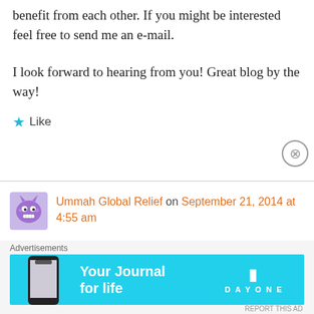benefit from each other. If you might be interested feel free to send me an e-mail.
I look forward to hearing from you! Great blog by the way!
★ Like
Ummah Global Relief on September 21, 2014 at 4:55 am
Hello There. I found your blog the usage of msn. That is a very well written article. I will make sure to bookmark it and return to learn extra of your helpful information. Thank
Advertisements
[Figure (screenshot): Advertisement banner for 'Your Journal for life' by Day One app, cyan/turquoise background with phone image]